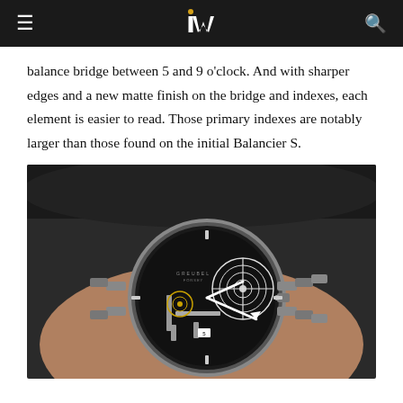iW
balance bridge between 5 and 9 o'clock. And with sharper edges and a new matte finish on the bridge and indexes, each element is easier to read. Those primary indexes are notably larger than those found on the initial Balancier S.
[Figure (photo): Close-up photo of a luxury skeleton watch with a visible balance wheel and bridge, silver case with bracelet, black dial, worn on a wrist against a dark fabric background.]